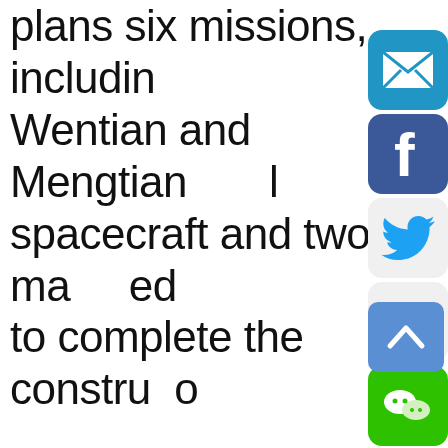plans six missions, including Wentian and Mengtian lab spacecraft and two manned to complete the construction "We have to make sure every and operation of spacecraft sound. Every mission is a test organization, management, support ability," said Zhou J of China's manned space
[Figure (infographic): Social sharing icons: email (blue), Facebook (blue), Twitter (light gray), Weibo (red/white), WeChat (green). Plus a scroll-to-top button (blue with chevron up).]